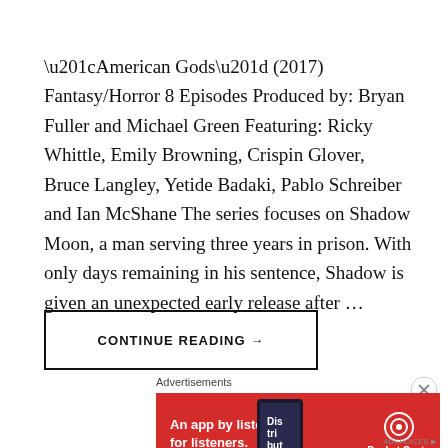“American Gods” (2017) Fantasy/Horror 8 Episodes Produced by: Bryan Fuller and Michael Green Featuring: Ricky Whittle, Emily Browning, Crispin Glover, Bruce Langley, Yetide Badaki, Pablo Schreiber and Ian McShane The series focuses on Shadow Moon, a man serving three years in prison. With only days remaining in his sentence, Shadow is given an unexpected early release after …
CONTINUE READING →
Advertisements
[Figure (other): Red advertisement banner for Pocket Casts app showing 'An app by listeners, for listeners.' with a phone image and Pocket Casts logo]